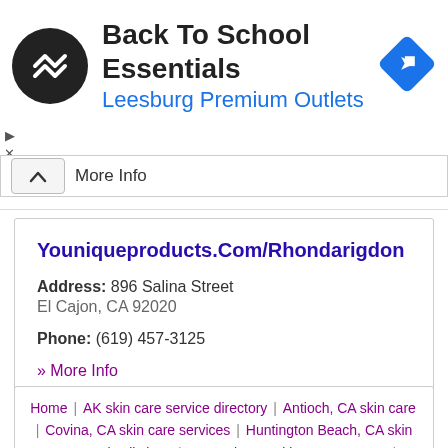[Figure (logo): Back To School Essentials advertisement banner with circular black logo, navigation arrow icon, and text Back To School Essentials / Leesburg Premium Outlets]
More Info
Youniqueproducts.Com/Rhondarigdon
Address: 896 Salina Street
El Cajon, CA 92020
Phone: (619) 457-3125
» More Info
Home | AK skin care service directory | Antioch, CA skin care | Covina, CA skin care services | Huntington Beach, CA skin care service listings | Monrovia, CA skin care near me | Ontario, CA |